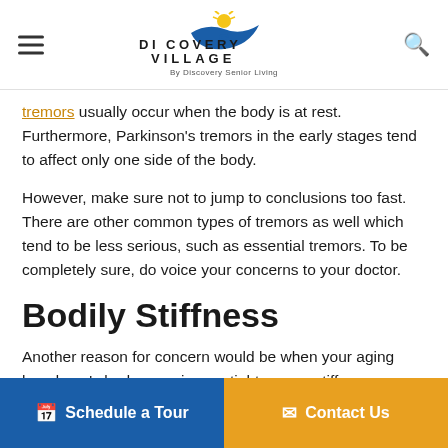Discovery Village By Discovery Senior Living
tremors usually occur when the body is at rest. Furthermore, Parkinson's tremors in the early stages tend to affect only one side of the body.
However, make sure not to jump to conclusions too fast. There are other common types of tremors as well which tend to be less serious, such as essential tremors. To be completely sure, do voice your concerns to your doctor.
Bodily Stiffness
Another reason for concern would be when your aging loved one's body experiences tightness or stiffness, especially in the limbs and torso. Of course, such rigidity could be due to other age-associated effects that the elderly experience. Such
Schedule a Tour   Contact Us